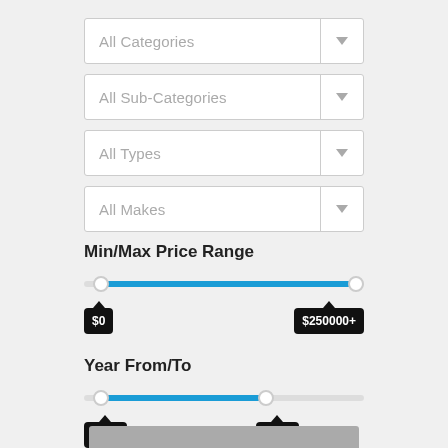All Categories
All Sub-Categories
All Types
All Makes
Min/Max Price Range
[Figure (other): Range slider showing price from $0 to $250000+]
Year From/To
[Figure (other): Range slider showing year from 1950 to 2023]